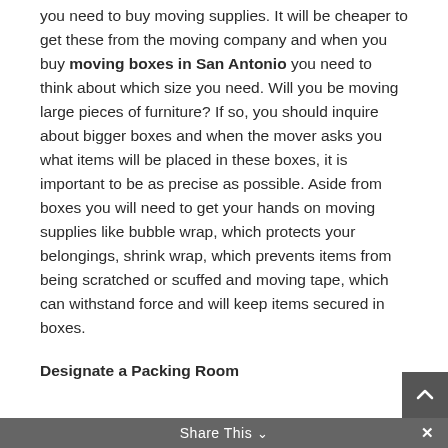you need to buy moving supplies. It will be cheaper to get these from the moving company and when you buy moving boxes in San Antonio you need to think about which size you need. Will you be moving large pieces of furniture? If so, you should inquire about bigger boxes and when the mover asks you what items will be placed in these boxes, it is important to be as precise as possible. Aside from boxes you will need to get your hands on moving supplies like bubble wrap, which protects your belongings, shrink wrap, which prevents items from being scratched or scuffed and moving tape, which can withstand force and will keep items secured in boxes.
Designate a Packing Room
Spend a day organizing your moving boxes in San Antonio and save time by designating a packing room. By placing al of the boxes in one room you will have control over where everything is and will be able to
Share This